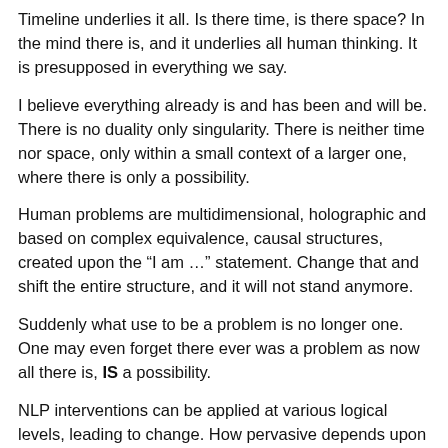Timeline underlies it all. Is there time, is there space? In the mind there is, and it underlies all human thinking. It is presupposed in everything we say.
I believe everything already is and has been and will be. There is no duality only singularity. There is neither time nor space, only within a small context of a larger one, where there is only a possibility.
Human problems are multidimensional, holographic and based on complex equivalence, causal structures, created upon the “I am …” statement. Change that and shift the entire structure, and it will not stand anymore.
Suddenly what use to be a problem is no longer one. One may even forget there ever was a problem as now all there is, IS a possibility.
NLP interventions can be applied at various logical levels, leading to change. How pervasive depends upon